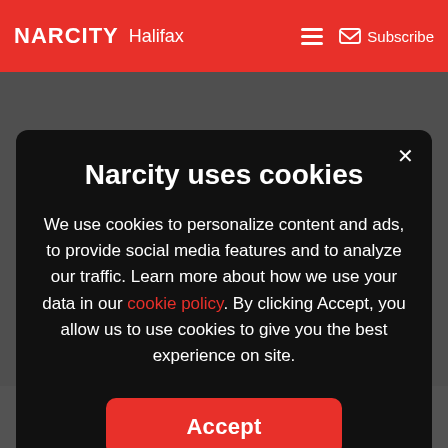NARCITY Halifax
Narcity uses cookies
We use cookies to personalize content and ads, to provide social media features and to analyze our traffic. Learn more about how we use your data in our cookie policy. By clicking Accept, you allow us to use cookies to give you the best experience on site.
Accept